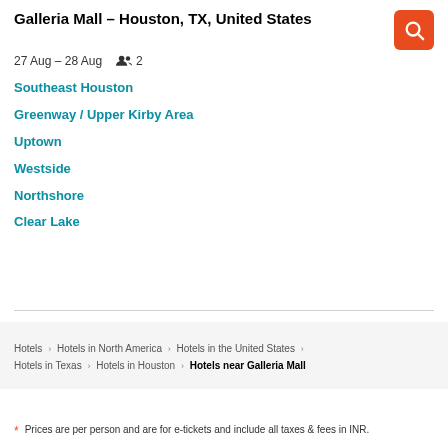Galleria Mall – Houston, TX, United States
27 Aug – 28 Aug   2
Southeast Houston
Greenway / Upper Kirby Area
Uptown
Westside
Northshore
Clear Lake
Hotels > Hotels in North America > Hotels in the United States > Hotels in Texas > Hotels in Houston > Hotels near Galleria Mall
* Prices are per person and are for e-tickets and include all taxes & fees in INR.